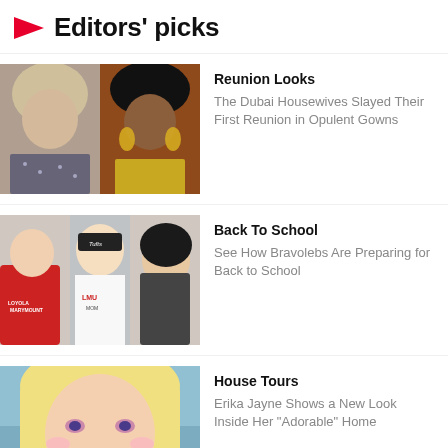Editors' picks
[Figure (photo): Two women posing together - a blonde woman in a sparkly outfit and a dark-haired woman in a gold sequined dress]
Reunion Looks
The Dubai Housewives Slayed Their First Reunion in Opulent Gowns
[Figure (photo): Three people posing together - a young man in red hoodie, a woman in black cap with LMU shirt, and a woman in dark clothing]
Back To School
See How Bravolebs Are Preparing for Back to School
[Figure (photo): Blonde woman with glamorous makeup taking a selfie]
House Tours
Erika Jayne Shows a New Look Inside Her "Adorable" Home